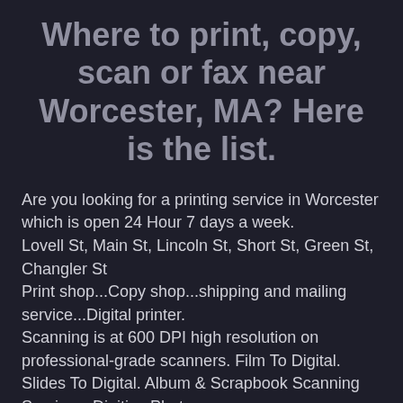Where to print, copy, scan or fax near Worcester, MA? Here is the list.
Are you looking for a printing service in Worcester which is open 24 Hour 7 days a week.
Lovell St, Main St, Lincoln St, Short St, Green St, Changler St
Print shop...Copy shop...shipping and mailing service...Digital printer.
Scanning is at 600 DPI high resolution on professional-grade scanners. Film To Digital. Slides To Digital. Album & Scrapbook Scanning Services. Digitize Photos.
✓ Print from Phone. Print from Tablet. Print from Laptop. Print documents for businesses, individuals, students and more... Services include custom projects, small and large format printing, copying, binding, scanning and